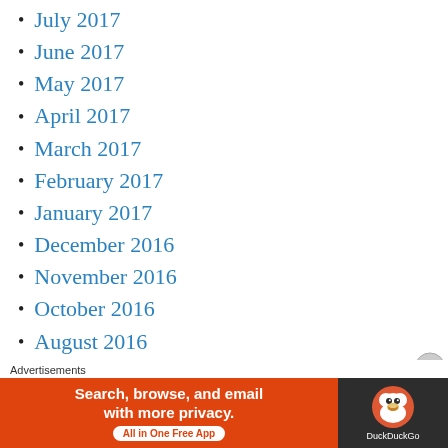July 2017
June 2017
May 2017
April 2017
March 2017
February 2017
January 2017
December 2016
November 2016
October 2016
August 2016
July 2016
June 2016
May 2016
Advertisements
[Figure (other): DuckDuckGo advertisement banner: orange left section with text 'Search, browse, and email with more privacy. All in One Free App' and dark right section with DuckDuckGo logo and name.]